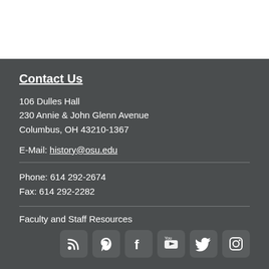Contact Us
106 Dulles Hall
230 Annie & John Glenn Avenue
Columbus, OH 43210-1367
E-Mail: history@osu.edu
Phone: 614 292-2674
Fax: 614 292-2282
Faculty and Staff Resources
[Figure (illustration): Social media icons: RSS, Pinterest, Facebook, YouTube, Twitter, Instagram]